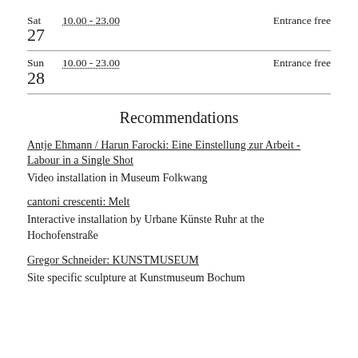Sat 27   10.00 - 23.00   Entrance free
Sun 28   10.00 - 23.00   Entrance free
Recommendations
Antje Ehmann / Harun Farocki: Eine Einstellung zur Arbeit - Labour in a Single Shot
Video installation in Museum Folkwang
cantoni crescenti: Melt
Interactive installation by Urbane Künste Ruhr at the Hochofenstraße
Gregor Schneider: KUNSTMUSEUM
Site specific sculpture at Kunstmuseum Bochum